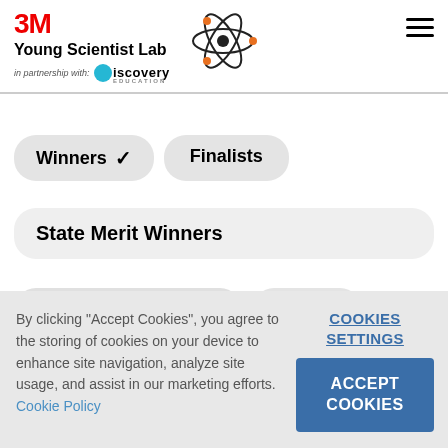3M Young Scientist Lab in partnership with Discovery Education
Winners ✓
Finalists
State Merit Winners
Honorable Mention ✓
Mentors
By clicking "Accept Cookies", you agree to the storing of cookies on your device to enhance site navigation, analyze site usage, and assist in our marketing efforts. Cookie Policy
COOKIES SETTINGS
ACCEPT COOKIES